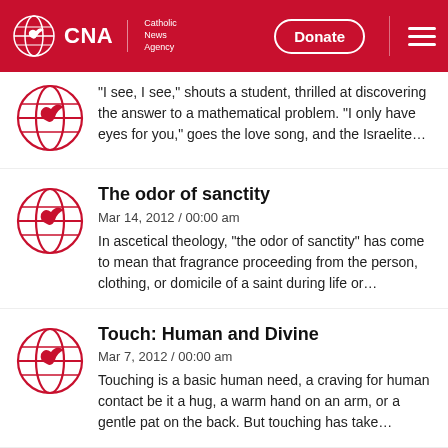CNA | Catholic News Agency — Donate
"I see, I see," shouts a student, thrilled at discovering the answer to a mathematical problem. "I only have eyes for you," goes the love song, and the Israelite…
The odor of sanctity
Mar 14, 2012 / 00:00 am
In ascetical theology, "the odor of sanctity" has come to mean that fragrance proceeding from the person, clothing, or domicile of a saint during life or…
Touch: Human and Divine
Mar 7, 2012 / 00:00 am
Touching is a basic human need, a craving for human contact be it a hug, a warm hand on an arm, or a gentle pat on the back. But touching has take…